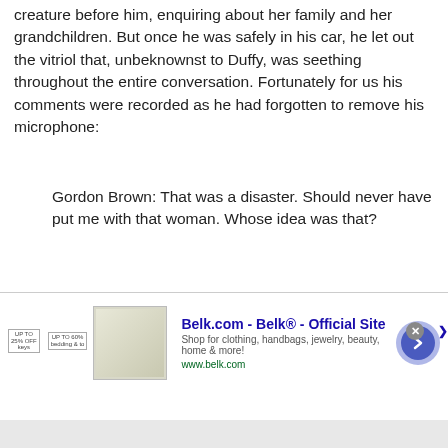creature before him, enquiring about her family and her grandchildren. But once he was safely in his car, he let out the vitriol that, unbeknownst to Duffy, was seething throughout the entire conversation. Fortunately for us his comments were recorded as he had forgotten to remove his microphone:
Gordon Brown: That was a disaster. Should never have put me with that woman. Whose idea was that?
Unknown male: I don’t know, I didn’t see.
[Figure (screenshot): Advertisement banner for Belk.com showing retail advertisement with Belk logo, product image, and navigation arrow]